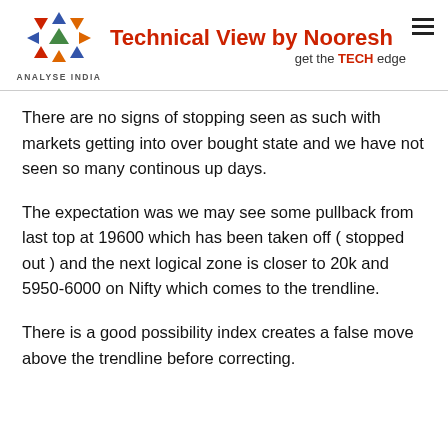Technical View by Nooresh | get the TECH edge | ANALYSE INDIA
There are no signs of stopping seen as such with markets getting into over bought state and we have not seen so many continous up days.
The expectation was we may see some pullback from last top at 19600 which has been taken off ( stopped out ) and the next logical zone is closer to 20k and 5950-6000 on Nifty which comes to the trendline.
There is a good possibility index creates a false move above the trendline before correcting.